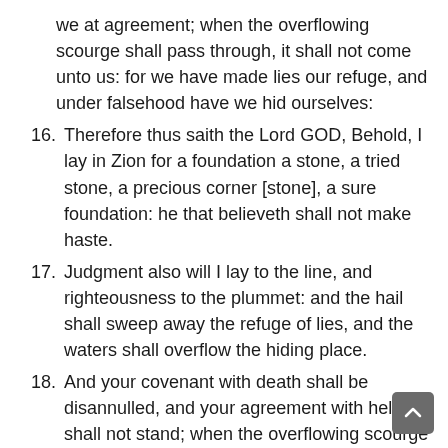we at agreement; when the overflowing scourge shall pass through, it shall not come unto us: for we have made lies our refuge, and under falsehood have we hid ourselves:
16. Therefore thus saith the Lord GOD, Behold, I lay in Zion for a foundation a stone, a tried stone, a precious corner [stone], a sure foundation: he that believeth shall not make haste.
17. Judgment also will I lay to the line, and righteousness to the plummet: and the hail shall sweep away the refuge of lies, and the waters shall overflow the hiding place.
18. And your covenant with death shall be disannulled, and your agreement with hell shall not stand; when the overflowing scourge shall pass